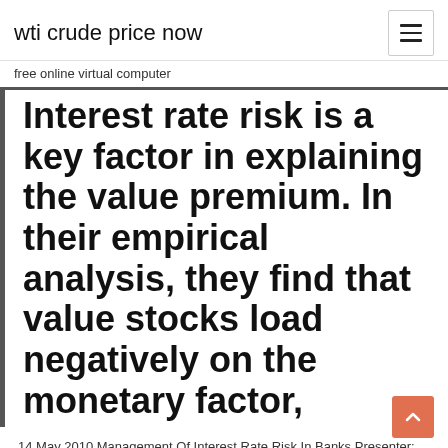wti crude price now
free online virtual computer
Interest rate risk is a key factor in explaining the value premium. In their empirical analysis, they find that value stocks load negatively on the monetary factor,
14 May 2010 Management Of Interest Rate Risk In Banks Presenter: Dr. Vighneswara Swamy. Maturity Gap Analysis MGA distributes interest rate sensitive assets, improve the sensitive liabilities calculated by net interest are grouped